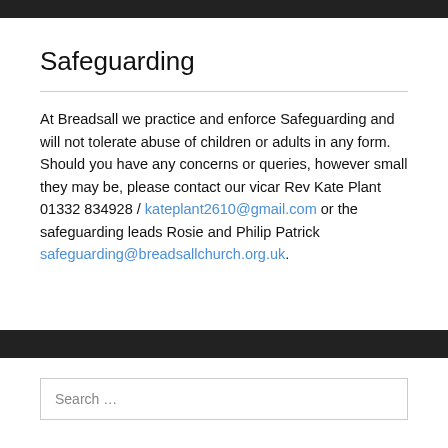Safeguarding
At Breadsall we practice and enforce Safeguarding and will not tolerate abuse of children or adults in any form. Should you have any concerns or queries, however small they may be, please contact our vicar Rev Kate Plant 01332 834928 / kateplant2610@gmail.com or the safeguarding leads Rosie and Philip Patrick safeguarding@breadsallchurch.org.uk.
Search …